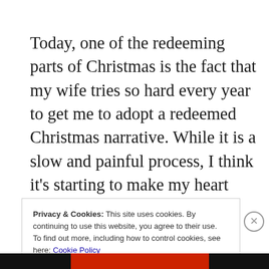Today, one of the redeeming parts of Christmas is the fact that my wife tries so hard every year to get me to adopt a redeemed Christmas narrative. While it is a slow and painful process, I think it's starting to make my heart grow a little bit bigger. The picture in this post is of my favorite ornament.
Privacy & Cookies: This site uses cookies. By continuing to use this website, you agree to their use.
To find out more, including how to control cookies, see here: Cookie Policy
Close and accept